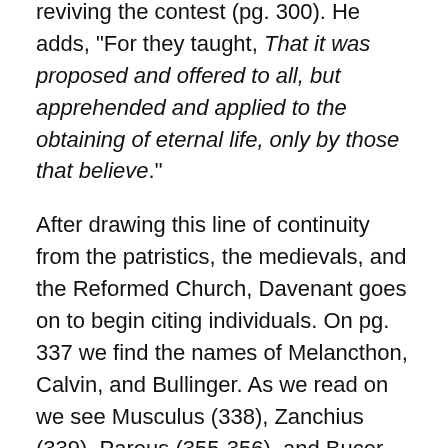reviving the contest (pg. 300). He adds, 'For they taught, That it was proposed and offered to all, but apprehended and applied to the obtaining of eternal life, only by those that believe.'
After drawing this line of continuity from the patristics, the medievals, and the Reformed Church, Davenant goes on to begin citing individuals. On pg. 337 we find the names of Melancthon, Calvin, and Bullinger. As we read on we see Musculus (338), Zanchius (339), Pareus (355-356), and Bucer (547). It could perhaps be argued that Davenant was incorrect in his interpretation of these authors, but it should be clear that he did not hold Overall's opinion. Rather he saw his own views as in harmony with Calvin and the Reformed. Davenant affirms that his position is that of the Church of England, represented in the 39 Articles, and that this position is